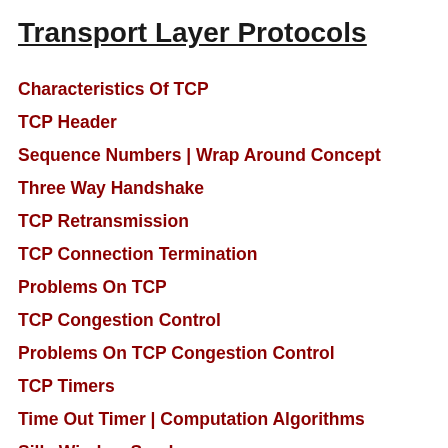Transport Layer Protocols
Characteristics Of TCP
TCP Header
Sequence Numbers | Wrap Around Concept
Three Way Handshake
TCP Retransmission
TCP Connection Termination
Problems On TCP
TCP Congestion Control
Problems On TCP Congestion Control
TCP Timers
Time Out Timer | Computation Algorithms
Silly Window Syndrome
User Datagram Protocol